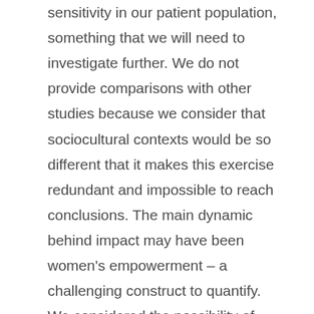sensitivity in our patient population, something that we will need to investigate further. We do not provide comparisons with other studies because we consider that sociocultural contexts would be so different that it makes this exercise redundant and impossible to reach conclusions. The main dynamic behind impact may have been women's empowerment – a challenging construct to quantify. We considered the possibility of positive sociability , with participants reporting more positive outcomes so that the project might continue. Circle leaders' own aspirations for continued employment may have resulted in them painting a more positive picture of their experiences. Sharing the sessions' content with husbands and mothers-in-law sometimes